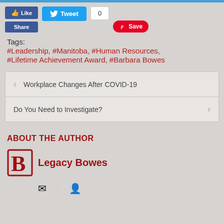Tags: #Leadership, #Manitoba, #Human Resources, #Lifetime Achievement Award, #Barbara Bowes
Workplace Changes After COVID-19
Do You Need to Investigate?
ABOUT THE AUTHOR
Legacy Bowes